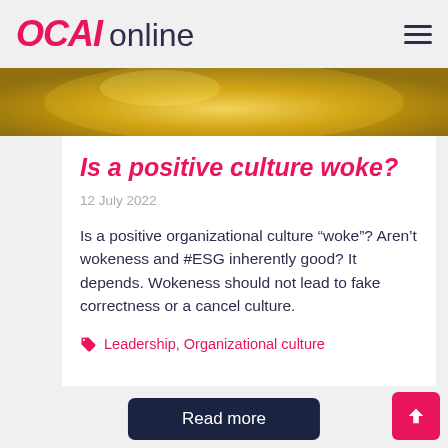OCAI online
[Figure (photo): Close-up of golden decorative object, blurred background]
Is a positive culture woke?
12 July 2022
Is a positive organizational culture “woke”? Aren’t wokeness and #ESG inherently good? It depends. Wokeness should not lead to fake correctness or a cancel culture.
Leadership, Organizational culture
Read more